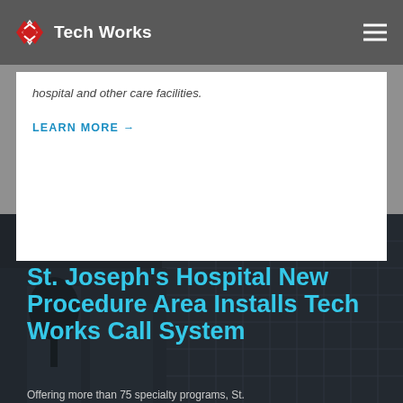Tech Works
hospital and other care facilities.
LEARN MORE →
HEALTHCARE SPOTLIGHT
St. Joseph's Hospital New Procedure Area Installs Tech Works Call System
Offering more than 75 specialty programs, St.